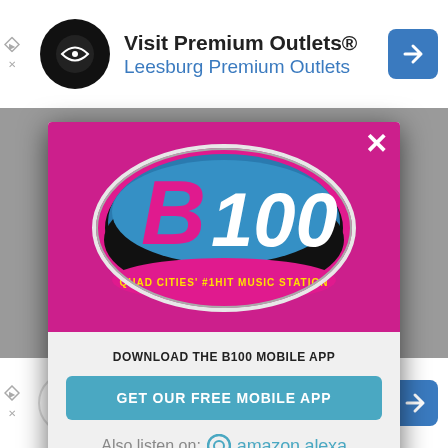[Figure (screenshot): Top advertisement banner: Visit Premium Outlets® / Leesburg Premium Outlets with navigation arrow icon]
[Figure (logo): B100 Quad Cities #1 Hit Music Station logo on pink/magenta background inside modal popup]
DOWNLOAD THE B100 MOBILE APP
GET OUR FREE MOBILE APP
Also listen on:  amazon alexa
[Figure (screenshot): Bottom advertisement banner: Get Up To $100 Off New Brakes / Virginia Tire & Auto of Ashburn Farms]